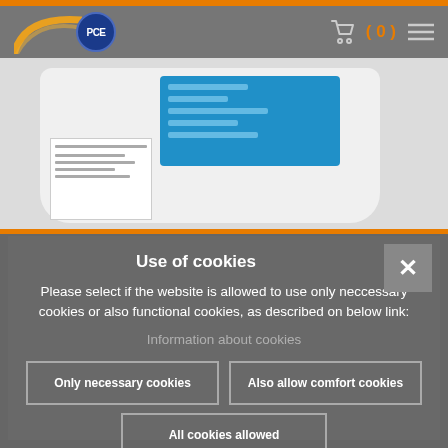PCE Instruments navigation bar with logo, cart, and menu
[Figure (screenshot): PCE Instruments product image showing a white measurement device with a blue screen displaying data, partially visible]
Use of cookies
Please select if the website is allowed to use only neccessary cookies or also functional cookies, as described on below link:
Information about cookies
Only necessary cookies
Also allow comfort cookies
All cookies allowed